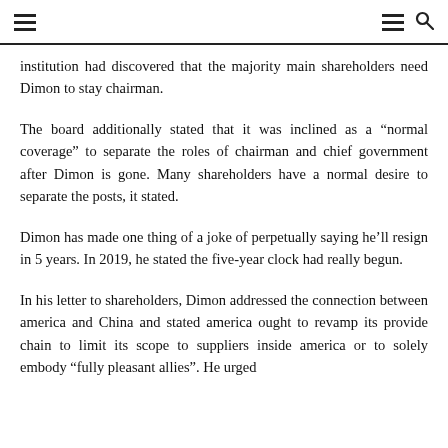navigation header with hamburger menus and search icon
institution had discovered that the majority main shareholders need Dimon to stay chairman.
The board additionally stated that it was inclined as a “normal coverage” to separate the roles of chairman and chief government after Dimon is gone. Many shareholders have a normal desire to separate the posts, it stated.
Dimon has made one thing of a joke of perpetually saying he’ll resign in 5 years. In 2019, he stated the five-year clock had really begun.
In his letter to shareholders, Dimon addressed the connection between america and China and stated america ought to revamp its provide chain to limit its scope to suppliers inside america or to solely embody “fully pleasant allies”. He urged